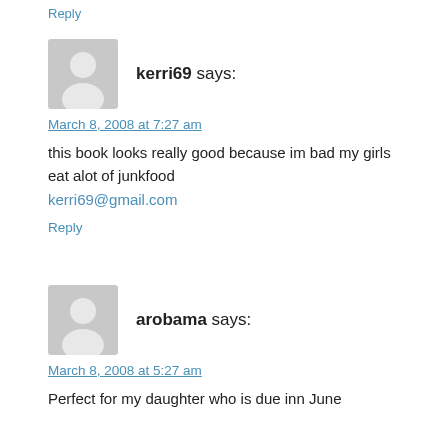Reply
[Figure (illustration): Default user avatar placeholder (grey circle with person silhouette)]
kerri69 says:
March 8, 2008 at 7:27 am
this book looks really good because im bad my girls eat alot of junkfood
kerri69@gmail.com
Reply
[Figure (illustration): Default user avatar placeholder (grey circle with person silhouette)]
arobama says:
March 8, 2008 at 5:27 am
Perfect for my daughter who is due inn June